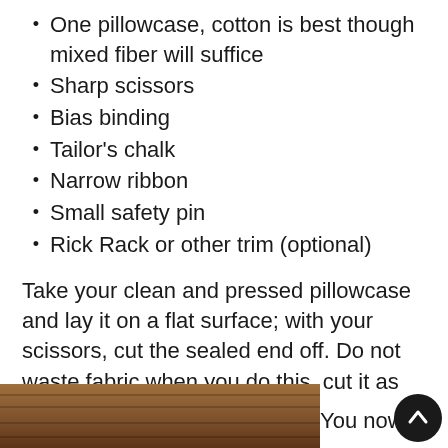One pillowcase, cotton is best though mixed fiber will suffice
Sharp scissors
Bias binding
Tailor's chalk
Narrow ribbon
Small safety pin
Rick Rack or other trim (optional)
Take your clean and pressed pillowcase and lay it on a flat surface; with your scissors, cut the sealed end off. Do not waste fabric when you do this, cut it as close to the hem as possible.
[Figure (photo): Photo of a wooden surface with what appears to be fabric or paper items on it, partially visible at bottom of page. To the right is partial text 'You now' with a scroll-up button.]